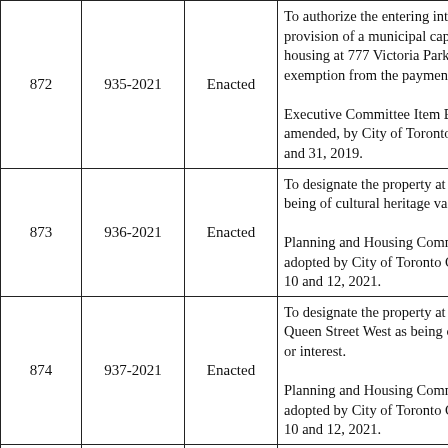| # | By-law | Status | Description |
| --- | --- | --- | --- |
| 872 | 935-2021 | Enacted | To authorize the entering into provision of a municipal capital housing at 777 Victoria Park exemption from the payment

Executive Committee Item E amended, by City of Toronto and 31, 2019. |
| 873 | 936-2021 | Enacted | To designate the property at being of cultural heritage va

Planning and Housing Comm adopted by City of Toronto C 10 and 12, 2021. |
| 874 | 937-2021 | Enacted | To designate the property at Queen Street West as being or interest.

Planning and Housing Comm adopted by City of Toronto C 10 and 12, 2021. |
|  |  |  | To make a technical amendr being a by-law to amend Zo amended, with respect to the known in the year 2020 as t |